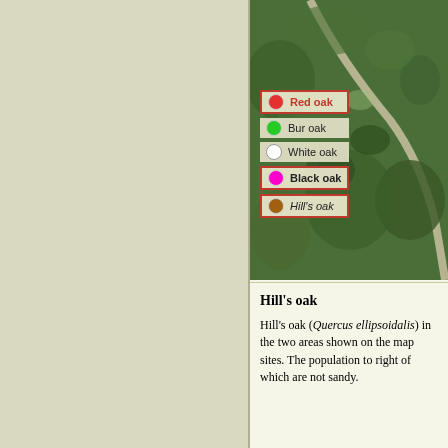[Figure (map): Aerial/satellite map view showing landscape with road/path, green vegetation and mixed terrain. Overlaid legend shows oak species markers: Red oak (red dot, highlighted), Bur oak (green dot), White oak (white dot), Black oak (magenta dot, highlighted), Hill's oak (brown dot, highlighted).]
Hill's oak
Hill's oak (Quercus ellipsoidalis) in the two areas shown on the map sites. The population to right of which are not sandy.